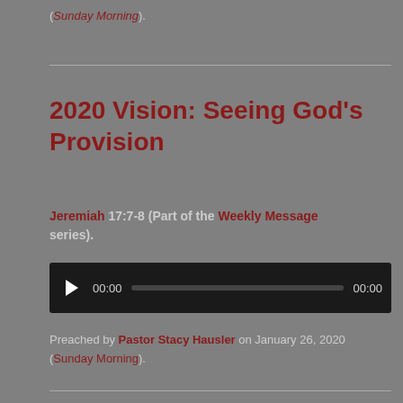(Sunday Morning).
2020 Vision: Seeing God's Provision
Jeremiah 17:7-8 (Part of the Weekly Message series).
[Figure (other): Audio player with play button, time display 00:00, progress bar, and end time 00:00]
Preached by Pastor Stacy Hausler on January 26, 2020 (Sunday Morning).